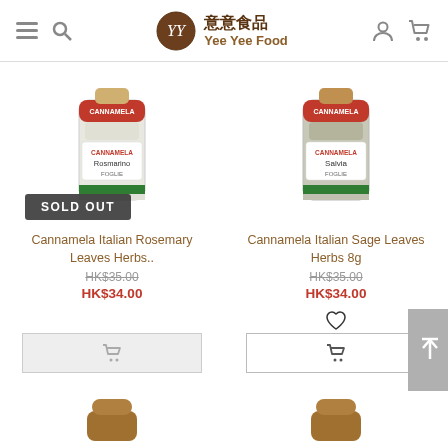意意食品 Yee Yee Food — navigation header with menu, search, logo, user and cart icons
[Figure (photo): Cannamela Italian Rosemary Leaves herb spice bottle with SOLD OUT badge overlay]
Cannamela Italian Rosemary Leaves Herbs..
HK$35.00 (strikethrough original price)
HK$34.00 (sale price)
[Figure (photo): Cannamela Italian Sage Leaves herb spice bottle]
Cannamela Italian Sage Leaves Herbs 8g
HK$35.00 (strikethrough original price)
HK$34.00 (sale price)
[Figure (photo): Partial view of two more herb spice bottles at bottom of page (tops only visible)]